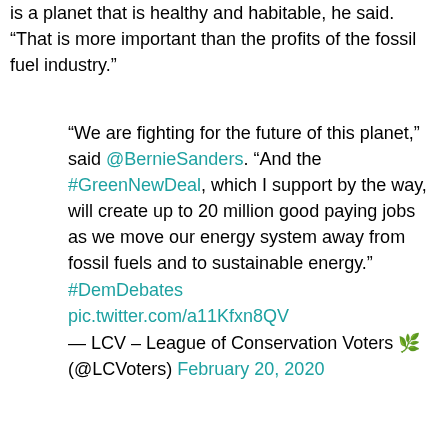is a planet that is healthy and habitable, he said. “That is more important than the profits of the fossil fuel industry.”
"We are fighting for the future of this planet," said @BernieSanders. "And the #GreenNewDeal, which I support by the way, will create up to 20 million good paying jobs as we move our energy system away from fossil fuels and to sustainable energy." #DemDebates pic.twitter.com/a11Kfxn8QV
— LCV – League of Conservation Voters 🌿 (@LCVoters) February 20, 2020